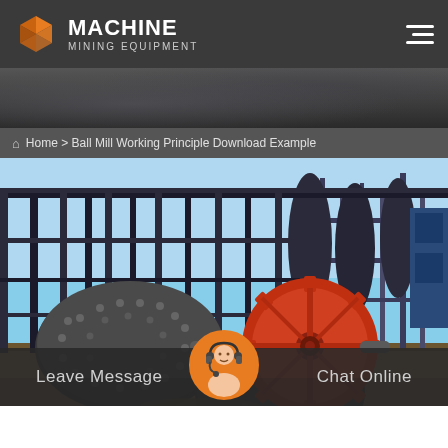[Figure (logo): Machine Mining Equipment logo with orange cube icon and white text]
[Figure (photo): Ball mill mining equipment at an industrial facility, showing large rotating drum with red gear wheel and studded surface, heavy machinery and steel framework in background under clear sky]
Home > Ball Mill Working Principle Download Example
Leave Message
Chat Online